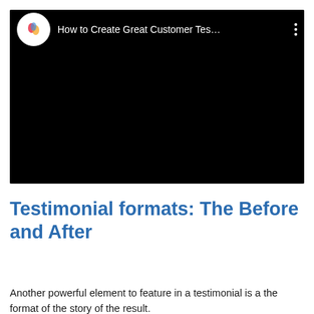[Figure (screenshot): Embedded YouTube-style video player with black background. Top bar shows a circular channel logo (DreamPronome), video title 'How to Create Great Customer Tes…', and a three-dot menu icon on the right. The main video area is entirely black.]
Testimonial formats: The Before and After
Another powerful element to feature in a testimonial is a the format of the story of the result.